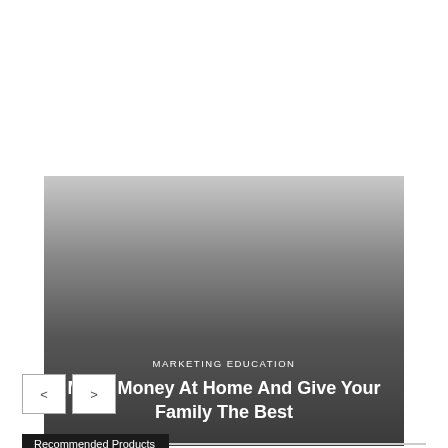[Figure (photo): A banner image with a gradient from light gray at the top to dark gray at the bottom, containing a category label and title text overlay]
MARKETING EDUCATION
Make Money At Home And Give Your Family The Best
Recommended Products